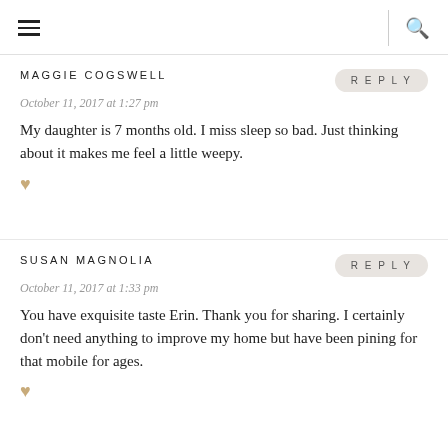≡  🔍
MAGGIE COGSWELL
October 11, 2017 at 1:27 pm
My daughter is 7 months old. I miss sleep so bad. Just thinking about it makes me feel a little weepy.
SUSAN MAGNOLIA
October 11, 2017 at 1:33 pm
You have exquisite taste Erin. Thank you for sharing. I certainly don't need anything to improve my home but have been pining for that mobile for ages.